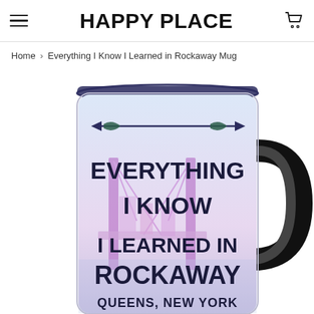HAPPY PLACE
Home › Everything I Know I Learned in Rockaway Mug
[Figure (photo): A white ceramic coffee mug with a black handle, featuring the text 'EVERYTHING I KNOW I LEARNED IN ROCKAWAY QUEENS, NEW YORK' with an arrow design and a bridge background illustration in purple/pink tones.]